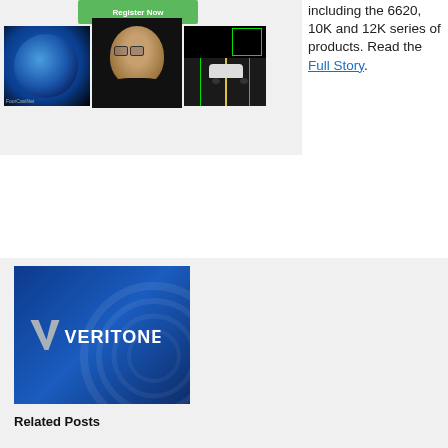[Figure (photo): Register Now green button above three photos: Earth globe, person (Jensen Huang), and autonomous car with green lane detection lines]
including the 6620, 10K and 12K series of products. Read the Full Story.
[Figure (infographic): Social share buttons: tweet (Twitter/blue), share (LinkedIn/blue), share (Facebook/blue), share (Reddit/orange), email (grey)]
[Figure (photo): Veritone logo on blue gradient background]
Related Posts